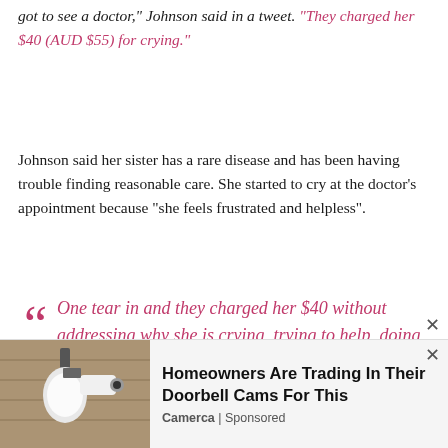got to see a doctor," Johnson said in a tweet. "They charged her $40 (AUD $55) for crying."
Johnson said her sister has a rare disease and has been having trouble finding reasonable care. She started to cry at the doctor’s appointment because “she feels frustrated and helpless”.
“One tear in and they charged her $40 without addressing why she is crying, trying to help, doing any evaluation, any prescription, nothing,” she said.
[Figure (photo): Advertisement banner showing a wall-mounted light fixture with a security camera. Text reads: Homeowners Are Trading In Their Doorbell Cams For This. Source: Camerca | Sponsored]